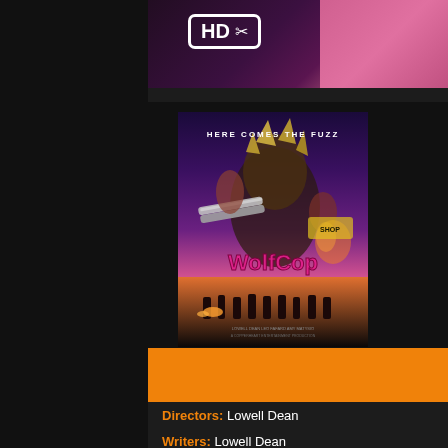[Figure (screenshot): HD badge with scissors icon on a dark purple/pink background — top portion of a video streaming interface]
[Figure (photo): WolfCop (2014) movie poster showing a werewolf police officer with the tagline HERE COMES THE FUZZ, with action imagery and pink/purple color scheme]
Wolfcop (2014)
Directors: Lowell Dean
Writers: Lowell Dean
Stars: Leo Fafard, Amy Matysio, Sarah Lind